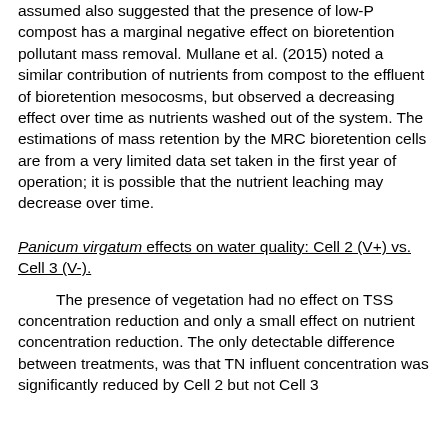assumed also suggested that the presence of low-P compost has a marginal negative effect on bioretention pollutant mass removal. Mullane et al. (2015) noted a similar contribution of nutrients from compost to the effluent of bioretention mesocosms, but observed a decreasing effect over time as nutrients washed out of the system. The estimations of mass retention by the MRC bioretention cells are from a very limited data set taken in the first year of operation; it is possible that the nutrient leaching may decrease over time.
Panicum virgatum effects on water quality: Cell 2 (V+) vs. Cell 3 (V-).
The presence of vegetation had no effect on TSS concentration reduction and only a small effect on nutrient concentration reduction. The only detectable difference between treatments, was that TN influent concentration was significantly reduced by Cell 2 but not Cell 3